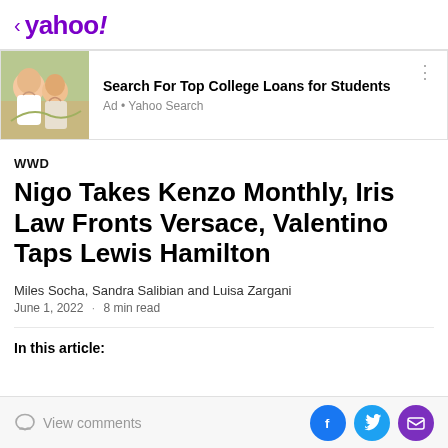< yahoo!
[Figure (photo): Advertisement banner: photo of two young women laughing outdoors in a field, with text 'Search For Top College Loans for Students' and 'Ad • Yahoo Search']
WWD
Nigo Takes Kenzo Monthly, Iris Law Fronts Versace, Valentino Taps Lewis Hamilton
Miles Socha, Sandra Salibian and Luisa Zargani
June 1, 2022 · 8 min read
In this article:
View comments